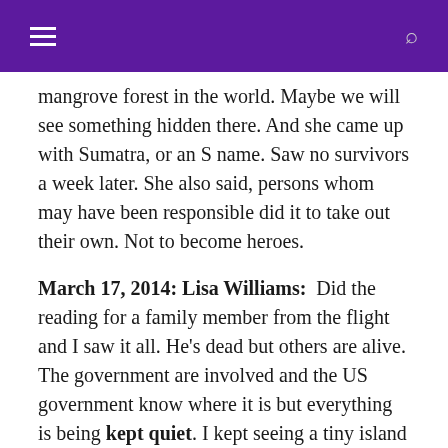≡  🔍
mangrove forest in the world. Maybe we will see something hidden there. And she came up with Sumatra, or an S name. Saw no survivors a week later. She also said, persons whom may have been responsible did it to take out their own. Not to become heroes.
March 17, 2014: Lisa Williams:  Did the reading for a family member from the flight and I saw it all. He's dead but others are alive. The government are involved and the US government know where it is but everything is being kept quiet. I kept seeing a tiny island with a rainforest near a place beginning with S something like Somalia.